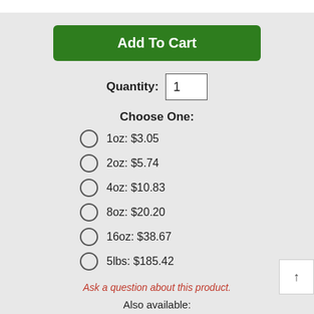[Figure (other): Add To Cart green button]
Quantity: 1
Choose One:
1oz: $3.05
2oz: $5.74
4oz: $10.83
8oz: $20.20
16oz: $38.67
5lbs: $185.42
Ask a question about this product.
Also available: